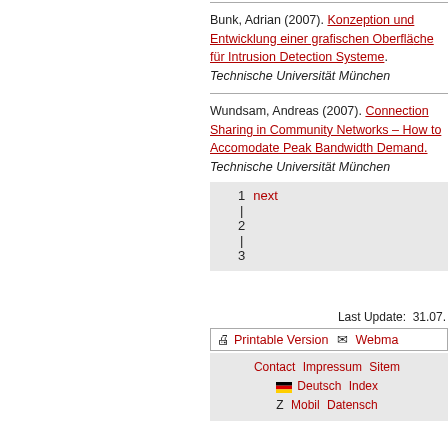Bunk, Adrian (2007). Konzeption und Entwicklung einer grafischen Oberfläche für Intrusion Detection Systeme. Technische Universität München
Wundsam, Andreas (2007). Connection Sharing in Community Networks – How to Accomodate Peak Bandwidth Demand. Technische Universität München
1 | 2 | 3 next
Last Update: 31.07.
Printable Version | Webmaster
Contact   Impressum   Sitemap   Deutsch   Index A-Z   Mobil   Datenschutz